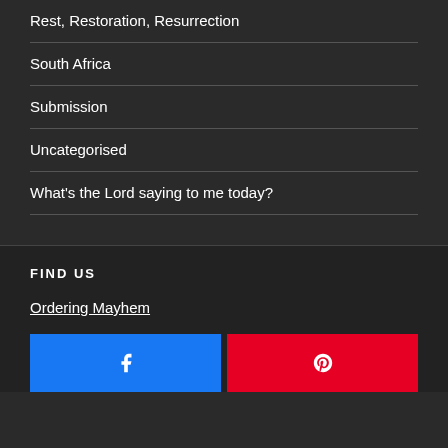Rest, Restoration, Resurrection
South Africa
Submission
Uncategorised
What's the Lord saying to me today?
FIND US
Ordering Mayhem
[Figure (other): Facebook and Pinterest social share buttons]